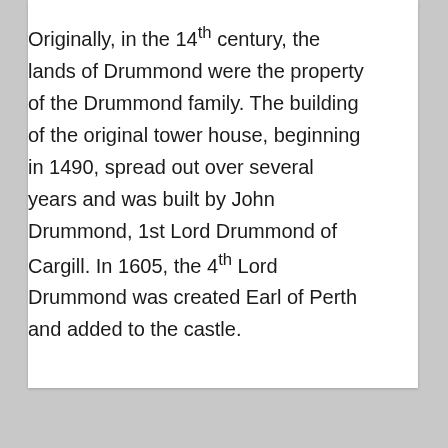Originally, in the 14th century, the lands of Drummond were the property of the Drummond family. The building of the original tower house, beginning in 1490, spread out over several years and was built by John Drummond, 1st Lord Drummond of Cargill. In 1605, the 4th Lord Drummond was created Earl of Perth and added to the castle.